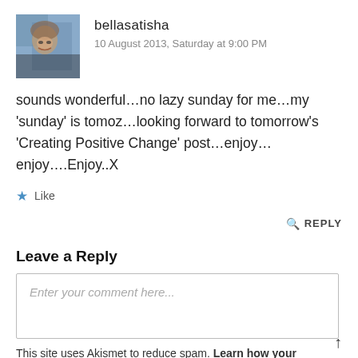[Figure (photo): Profile avatar photo of bellasatisha, a woman with curly hair and glasses]
bellasatisha
10 August 2013, Saturday at 9:00 PM
sounds wonderful…no lazy sunday for me…my 'sunday' is tomoz…looking forward to tomorrow's 'Creating Positive Change' post…enjoy…enjoy….Enjoy..X
★ Like
🔍 REPLY
Leave a Reply
Enter your comment here...
This site uses Akismet to reduce spam. Learn how your comment data is processed.